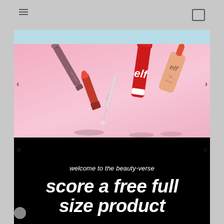[Figure (photo): e.l.f. cosmetics lip products arranged on a pink background including lip gloss, lipstick, and lip balm products]
welcome to the beauty-verse
score a free full size product